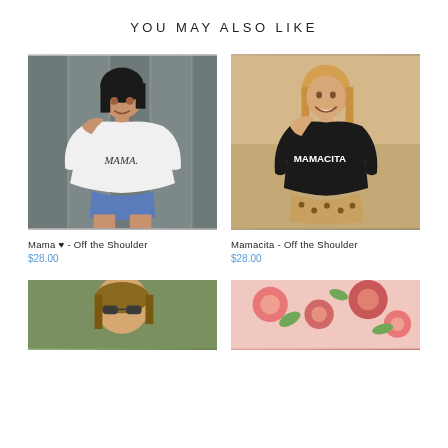YOU MAY ALSO LIKE
[Figure (photo): Woman wearing white off-the-shoulder MAMA. t-shirt with denim shorts, standing against a wooden fence]
[Figure (photo): Woman wearing black off-the-shoulder MAMACITA t-shirt with leopard print bottoms, smiling]
Mama ♥ - Off the Shoulder
$28.00
Mamacita - Off the Shoulder
$28.00
[Figure (photo): Partial photo bottom left - woman with sunglasses]
[Figure (photo): Partial photo bottom right - floral image]